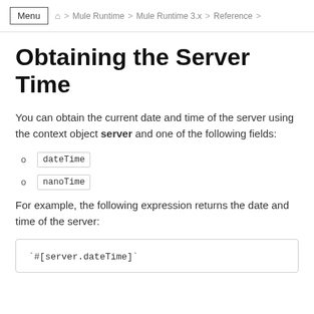Menu  ⌂ > Mule Runtime > Mule Runtime 3.x > Reference >
Obtaining the Server Time
You can obtain the current date and time of the server using the context object server and one of the following fields:
dateTime
nanoTime
For example, the following expression returns the date and time of the server:
`#[server.dateTime]`